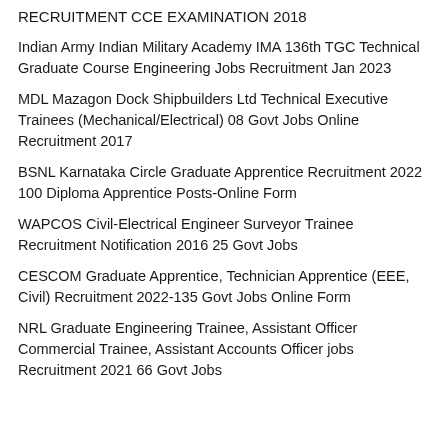RECRUITMENT CCE EXAMINATION 2018
Indian Army Indian Military Academy IMA 136th TGC Technical Graduate Course Engineering Jobs Recruitment Jan 2023
MDL Mazagon Dock Shipbuilders Ltd Technical Executive Trainees (Mechanical/Electrical) 08 Govt Jobs Online Recruitment 2017
BSNL Karnataka Circle Graduate Apprentice Recruitment 2022 100 Diploma Apprentice Posts-Online Form
WAPCOS Civil-Electrical Engineer Surveyor Trainee Recruitment Notification 2016 25 Govt Jobs
CESCOM Graduate Apprentice, Technician Apprentice (EEE, Civil) Recruitment 2022-135 Govt Jobs Online Form
NRL Graduate Engineering Trainee, Assistant Officer Commercial Trainee, Assistant Accounts Officer jobs Recruitment 2021 66 Govt Jobs